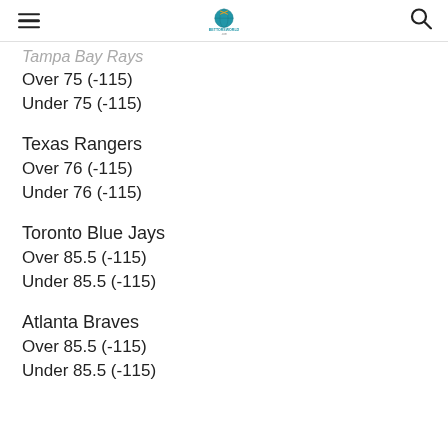BettorsWorld logo header with hamburger menu and search icon
Tampa Bay Rays
Over 75 (-115)
Under 75 (-115)
Texas Rangers
Over 76 (-115)
Under 76 (-115)
Toronto Blue Jays
Over 85.5 (-115)
Under 85.5 (-115)
Atlanta Braves
Over 85.5 (-115)
Under 85.5 (-115)